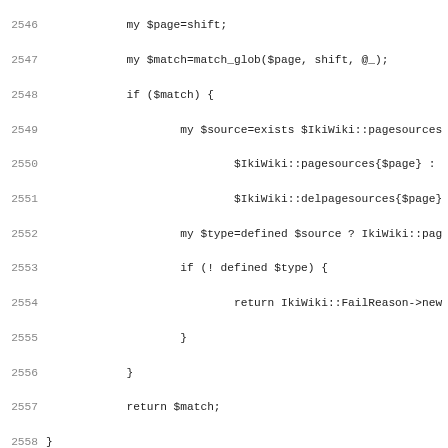[Figure (screenshot): Source code listing in monospace font showing Perl code lines 2546-2578, including subroutines match_glob and match_link with Perl syntax. Line numbers shown in grey on left margin.]